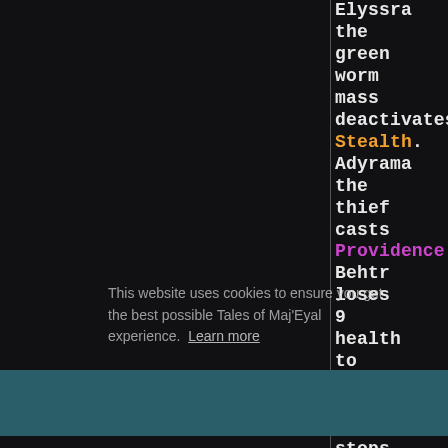Elyssra the green worm mass deactivates Stealth. Adyrama the thief casts Providence. Behtr loses 9 health to the entropy. Behtr stops regenerating health
This website uses cookies to ensure you get the best possible Tales of Maj'Eyal experience. Learn more
Got it!